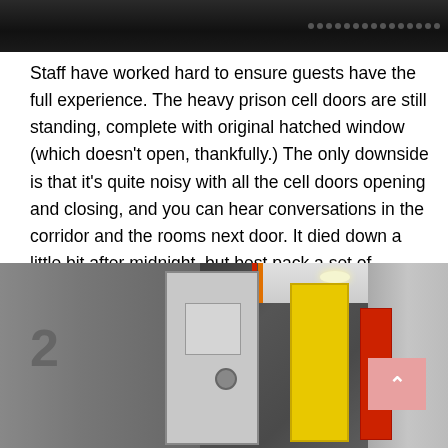[Figure (photo): Dark overhead photo, partially visible, appears to show a dark interior scene with dotted pattern visible on right side]
Staff have worked hard to ensure guests have the full experience. The heavy prison cell doors are still standing, complete with original hatched window (which doesn't open, thankfully.) The only downside is that it's quite noisy with all the cell doors opening and closing, and you can hear conversations in the corridor and the rooms next door. It died down a little bit after midnight, but best pack a set of earplugs if you're looking for an uninterrupted night sleep.
[Figure (photo): Photo of a prison-converted hotel corridor showing heavy cell doors, including yellow and red painted doors, with the number 2 on the wall, ceiling lights visible]